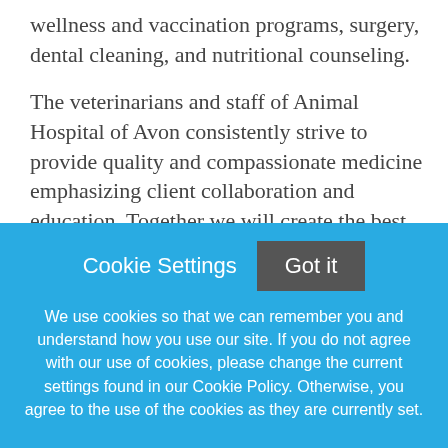wellness and vaccination programs, surgery, dental cleaning, and nutritional counseling.
The veterinarians and staff of Animal Hospital of Avon consistently strive to provide quality and compassionate medicine emphasizing client collaboration and education. Together we will create the best plan that works for your pet and your family.
To apply, please visit: https://smrtr.io/8VCxs
[Figure (screenshot): Cookie consent banner with light blue background. Contains 'Cookie Settings' text button and a dark grey 'Got it' button, followed by cookie policy text.]
We use cookies so that we can remember you and understand how you use our site. If you do not agree with our use of cookies, please change the current settings found in our Cookie Policy. Otherwise, you agree to the use of the cookies as they are currently set.